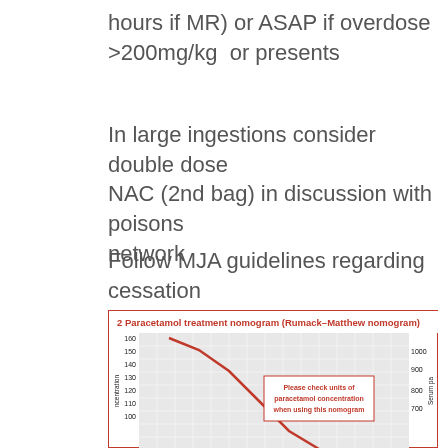hours if MR) or ASAP if overdose >200mg/kg  or presents
In large ingestions consider double dose NAC (2nd bag) in discussion with poisons network
Follow MJA guidelines regarding cessation
[Figure (continuous-plot): Paracetamol treatment nomogram (Rumack-Matthew nomogram) showing serum paracetamol concentration vs time. Y-axis left: concentration 100-160, Y-axis right: 700-1000. Red declining curve with a note box saying 'Please check units of paracetamol concentration when using this nomogram'.]